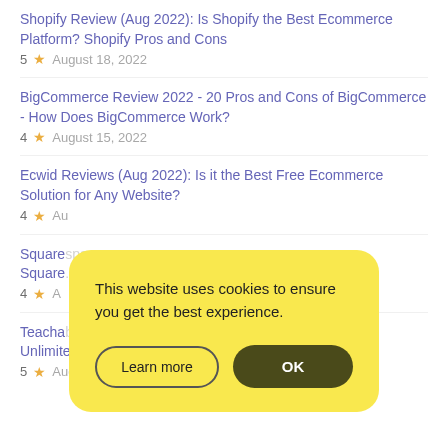Shopify Review (Aug 2022): Is Shopify the Best Ecommerce Platform? Shopify Pros and Cons
5 ★ August 18, 2022
BigCommerce Review 2022 - 20 Pros and Cons of BigCommerce - How Does BigCommerce Work?
4 ★ August 15, 2022
Ecwid Reviews (Aug 2022): Is it the Best Free Ecommerce Solution for Any Website?
4 ★ Aug...
Square... g Square...
4 ★ A...
Teacha... Unlimite...
5 ★ August 1, 2022
[Figure (screenshot): Cookie consent popup with yellow background, text 'This website uses cookies to ensure you get the best experience.', and two buttons: 'Learn more' and 'OK']